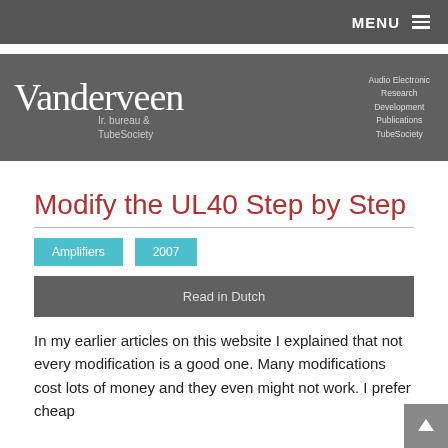MENU
[Figure (logo): Vanderveen logo with script text 'Vanderveen', subtitle 'Ir. bureau & TubeSociety', and taglines 'Audio Electronic Research Development Publications TubeSociety']
Modify the UL40 Step by Step
Amplifiers
2007
Read in Dutch
In my earlier articles on this website I explained that not every modification is a good one. Many modifications cost lots of money and they even might not work. I prefer cheap